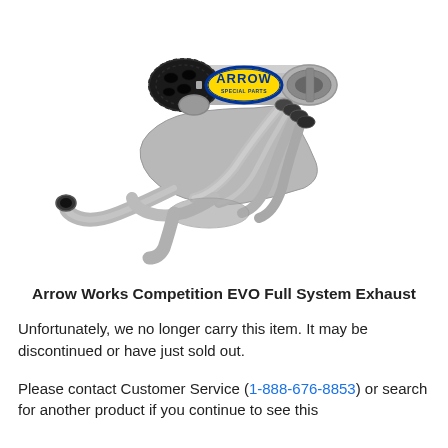[Figure (photo): Arrow Works Competition EVO Full System Exhaust product photo showing a stainless steel full exhaust system with titanium canister muffler bearing the ARROW Special Parts logo on a yellow and blue oval badge, with a carbon fiber end cap and multiple chrome header pipes.]
Arrow Works Competition EVO Full System Exhaust
Unfortunately, we no longer carry this item. It may be discontinued or have just sold out.
Please contact Customer Service (1-888-676-8853) or search for another product if you continue to see this